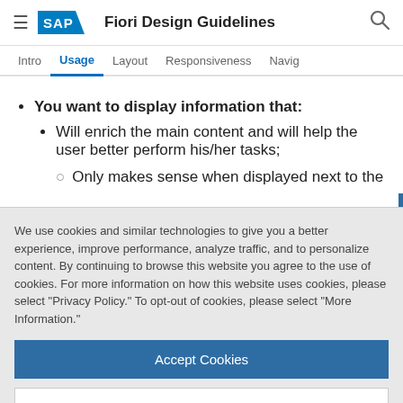SAP Fiori Design Guidelines
Intro | Usage | Layout | Responsiveness | Navig
You want to display information that:
Will enrich the main content and will help the user better perform his/her tasks;
Only makes sense when displayed next to the
We use cookies and similar technologies to give you a better experience, improve performance, analyze traffic, and to personalize content. By continuing to browse this website you agree to the use of cookies. For more information on how this website uses cookies, please select “Privacy Policy.” To opt-out of cookies, please select “More Information.”
Accept Cookies
More Information
Privacy Policy | Powered by: TrustArc